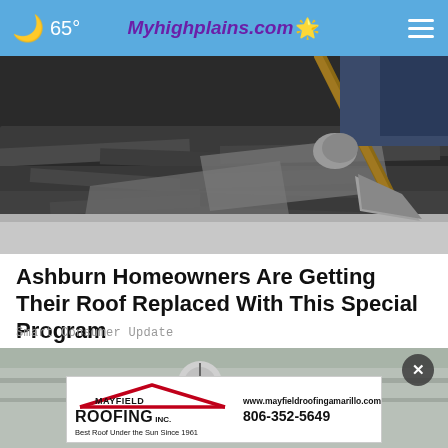65° Myhighplains.com
[Figure (photo): Close-up photo of worn/damaged roof shingles being removed with a pry bar or shovel tool, showing dark weathered asphalt shingles.]
Ashburn Homeowners Are Getting Their Roof Replaced With This Special Program
Smart Consumer Update
[Figure (photo): Partial photo of roofing materials/nail on a surface, partially obscured by an advertisement overlay.]
[Figure (logo): Mayfield Roofing Inc. advertisement banner. Logo with red roof outline graphic, company name 'MAYFIELD ROOFING INC.', tagline 'Best Roof Under the Sun Since 1961', website www.mayfieldroofingamarillo.com, phone 806-352-5649.]